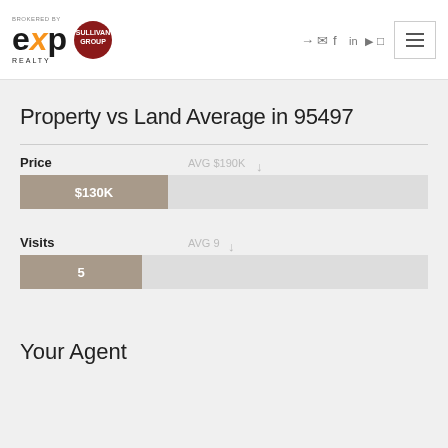[Figure (logo): eXp Realty brokered by logo with orange X and Sullivan Group red circular badge]
Property vs Land Average in 95497
[Figure (bar-chart): Price]
[Figure (bar-chart): Visits]
Your Agent